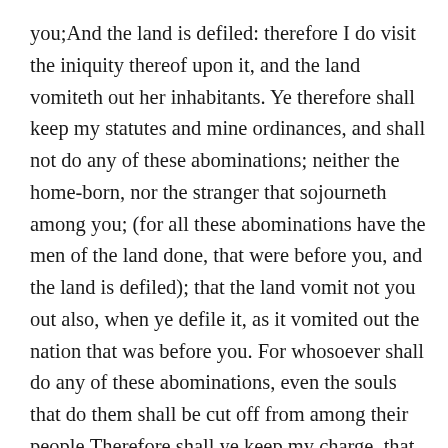you;And the land is defiled: therefore I do visit the iniquity thereof upon it, and the land vomiteth out her inhabitants. Ye therefore shall keep my statutes and mine ordinances, and shall not do any of these abominations; neither the home-born, nor the stranger that sojourneth among you; (for all these abominations have the men of the land done, that were before you, and the land is defiled); that the land vomit not you out also, when ye defile it, as it vomited out the nation that was before you. For whosoever shall do any of these abominations, even the souls that do them shall be cut off from among their people.Therefore shall ye keep my charge, that ye practise not any of these abominable customs, which were practised before you, and that ye defile not yourselves therein: I am Jehovah your God.